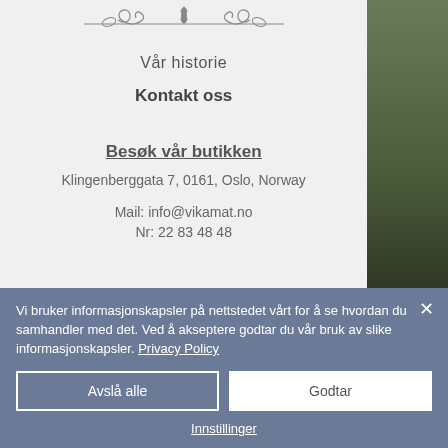[Figure (illustration): Decorative ornamental divider with scrollwork and floral motifs]
Vår historie
Kontakt oss
Besøk vår butikken
Klingenberggata 7, 0161, Oslo, Norway
Mail: info@vikamat.no
Nr: 22 83 48 48
Vi bruker informasjonskapsler på nettstedet vårt for å se hvordan du samhandler med det. Ved å akseptere godtar du vår bruk av slike informasjonskapsler. Privacy Policy
Avslå alle
Godtar
Innstillinger